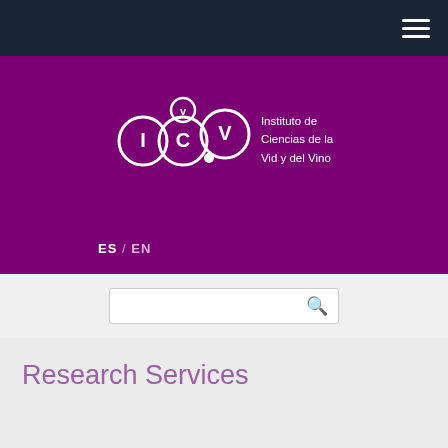Navigation bar with hamburger menu
[Figure (logo): ICVV logo with Instituto de Ciencias de la Vid y del Vino text on purple background]
ES / EN
Search bar
Research Services